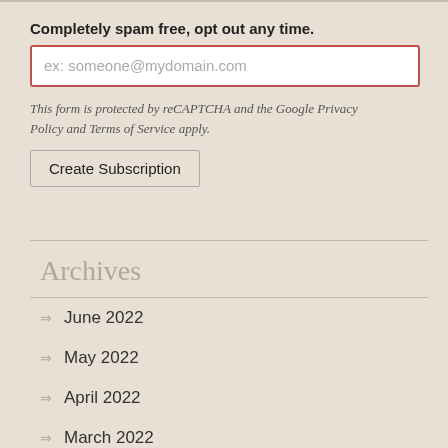Completely spam free, opt out any time.
[Figure (screenshot): Email input field with placeholder text 'ex: someone@mydomain.com' and a red border]
This form is protected by reCAPTCHA and the Google Privacy Policy and Terms of Service apply.
[Figure (screenshot): Create Subscription button]
Archives
June 2022
May 2022
April 2022
March 2022
February 2022